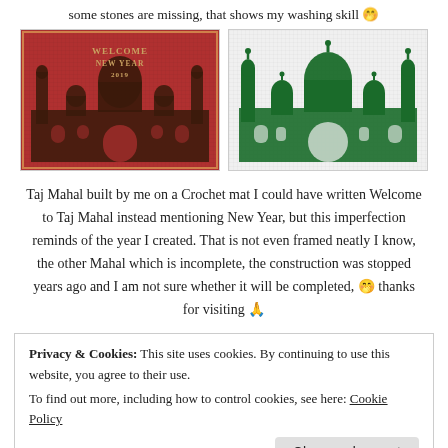some stones are missing, that shows my washing skill 🤭
[Figure (photo): Two crochet mats showing Taj Mahal design. Left: red/dark background with 'WELCOME NEW YEAR 2019' text. Right: white background with green Taj Mahal silhouette.]
Taj Mahal built by me on a Crochet mat I could have written Welcome to Taj Mahal instead mentioning New Year, but this imperfection reminds of the year I created. That is not even framed neatly I know, the other Mahal which is incomplete, the construction was stopped years ago and I am not sure whether it will be completed, 🤭 thanks for visiting 🙏
Privacy & Cookies: This site uses cookies. By continuing to use this website, you agree to their use.
To find out more, including how to control cookies, see here: Cookie Policy
Close and accept
[Figure (photo): Colorful banner at the bottom of page]